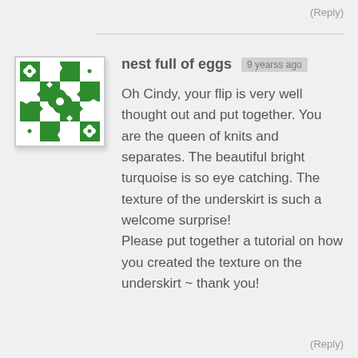(Reply)
nest full of eggs  9 yearss ago
[Figure (illustration): Green and white decorative tile pattern avatar with geometric floral motif]
Oh Cindy, your flip is very well thought out and put together. You are the queen of knits and separates. The beautiful bright turquoise is so eye catching. The texture of the underskirt is such a welcome surprise!
Please put together a tutorial on how you created the texture on the underskirt ~ thank you!
(Reply)